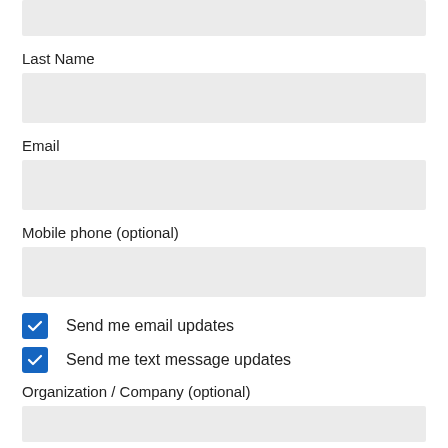[Figure (screenshot): Top portion of a form input field (cropped, partially visible at top)]
Last Name
[Figure (screenshot): Empty text input box for Last Name field]
Email
[Figure (screenshot): Empty text input box for Email field]
Mobile phone (optional)
[Figure (screenshot): Empty text input box for Mobile phone field]
Send me email updates
Send me text message updates
Organization / Company (optional)
[Figure (screenshot): Partial empty text input box for Organization / Company field]